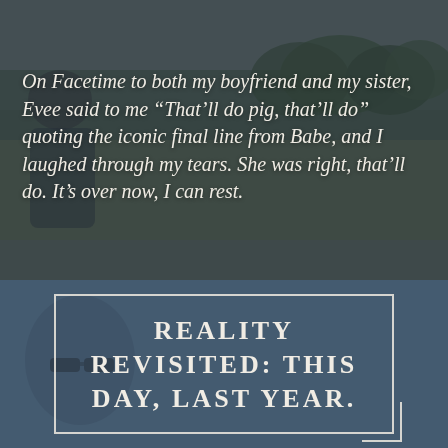[Figure (photo): Outdoor photo of a person on Facetime outdoors with trees and green field in background, overlaid with dark semi-transparent filter]
On Facetime to both my boyfriend and my sister, Evee said to me “That’ll do pig, that’ll do” quoting the iconic final line from Babe, and I laughed through my tears. She was right, that’ll do. It’s over now, I can rest.
[Figure (photo): Dark tinted photo of a person with sunglasses forming the background of the bottom section with steel blue overlay]
REALITY REVISITED: THIS DAY, LAST YEAR.